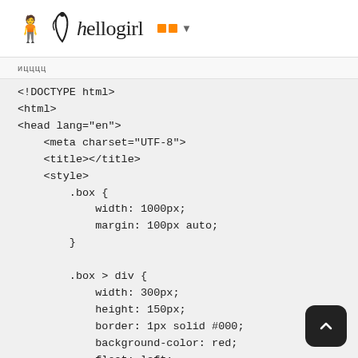hellogirl
ицццц
<!DOCTYPE html>
<html>
<head lang="en">
    <meta charset="UTF-8">
    <title></title>
    <style>
        .box {
            width: 1000px;
            margin: 100px auto;
        }

        .box > div {
            width: 300px;
            height: 150px;
            border: 1px solid #000;
            background-color: red;
            float: left;
            margin-right: 30px;
        }

        div:nth-child(2) {
            background-color: pink;
            transition: all 1s;